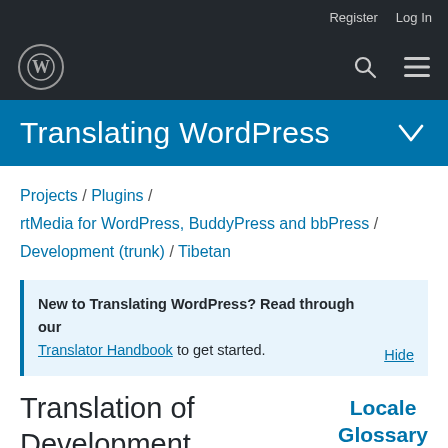Register  Log In
Translating WordPress
Projects / Plugins / rtMedia for WordPress, BuddyPress and bbPress / Development (trunk) / Tibetan
New to Translating WordPress? Read through our Translator Handbook to get started.
Translation of Development (trunk): Tibetan
Locale Glossary